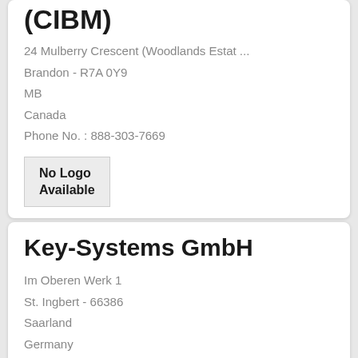(CIBM)
24 Mulberry Crescent (Woodlands Estat ...
Brandon - R7A 0Y9
MB
Canada
Phone No. : 888-303-7669
[Figure (other): No Logo Available placeholder box]
Key-Systems GmbH
Im Oberen Werk 1
St. Ingbert - 66386
Saarland
Germany
Phone No. : +49 (0) 68 94 - 93 96 850